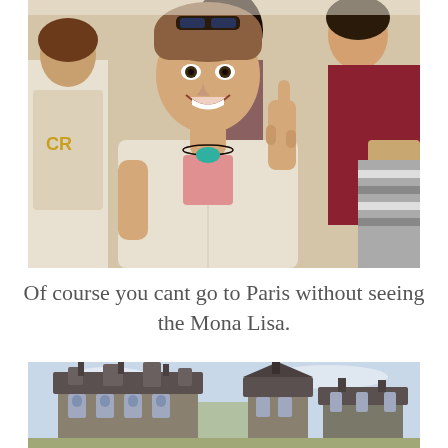[Figure (photo): A smiling woman with sunglasses on her head, wearing a white top and turquoise necklace, pointing upward with one finger. She is surrounded by a crowd of people in what appears to be a museum interior.]
Of course you cant go to Paris without seeing the Mona Lisa.
[Figure (photo): Exterior view of a grand Parisian building (the Louvre) with ornate architecture, turrets, and chimneys against a light sky.]